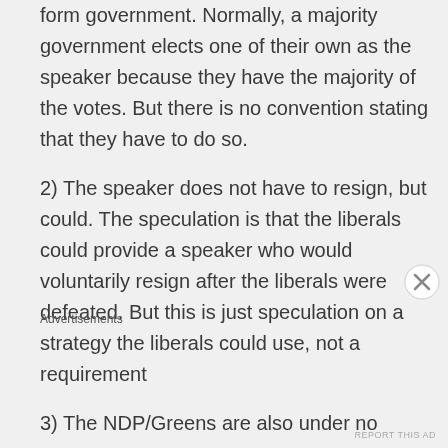form government. Normally, a majority government elects one of their own as the speaker because they have the majority of the votes. But there is no convention stating that they have to do so.
2) The speaker does not have to resign, but could. The speculation is that the liberals could provide a speaker who would voluntarily resign after the liberals were defeated. But this is just speculation on a strategy the liberals could use, not a requirement
3) The NDP/Greens are also under no
Advertisements